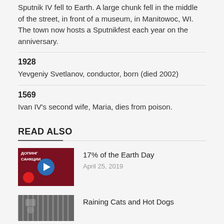Sputnik IV fell to Earth. A large chunk fell in the middle of the street, in front of a museum, in Manitowoc, WI. The town now hosts a Sputnikfest each year on the anniversary.
1928
Yevgeniy Svetlanov, conductor, born (died 2002)
1569
Ivan IV's second wife, Maria, dies from poison.
READ ALSO
[Figure (photo): Thumbnail image with dark red background showing text 'ДОПИНГ' and 'САНКЦИИ' with a play button and blue/red circles]
17% of the Earth Day
April 25, 2019
[Figure (photo): Thumbnail image of cats/animals behind bars or fencing]
Raining Cats and Hot Dogs